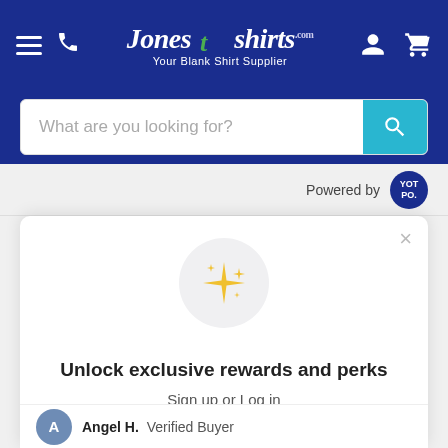[Figure (screenshot): JonesTshirts.com website navigation bar with hamburger menu, phone icon, logo, user icon, and cart icon on dark blue background]
What are you looking for?
Powered by YOT PO.
[Figure (illustration): Gold sparkle/stars icon inside a light grey circle]
Unlock exclusive rewards and perks
Sign up or Log in
Sign up
Already have an account? Sign in
Angel H. Verified Buyer